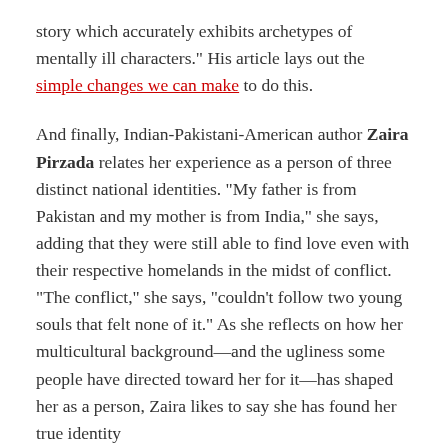story which accurately exhibits archetypes of mentally ill characters." His article lays out the simple changes we can make to do this.
And finally, Indian-Pakistani-American author Zaira Pirzada relates her experience as a person of three distinct national identities. "My father is from Pakistan and my mother is from India," she says, adding that they were still able to find love even with their respective homelands in the midst of conflict. "The conflict," she says, "couldn't follow two young souls that felt none of it." As she reflects on how her multicultural background—and the ugliness some people have directed toward her for it—has shaped her as a person, Zaira likes to say she has found her true identity